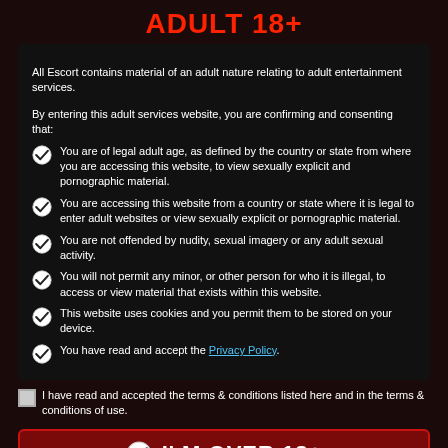ADULT 18+
All Escort contains material of an adult nature relating to adult entertainment services.
By entering this adult services website, you are confirming and consenting that:
You are of legal adult age, as defined by the country or state from where you are accessing this website, to view sexually explicit and pornographic material.
You are accessing this website from a country or state where it is legal to enter adult websites or view sexually explicit or pornographic material.
You are not offended by nudity, sexual imagery or any adult sexual activity.
You will not permit any minor, or other person for who it is illegal, to access or view material that exists within this website.
This website uses cookies and you permit them to be stored on your device.
You have read and accept the Privacy Policy.
I have read and accepted the terms & conditions listed here and in the terms & conditions of use.
I'M OVER 18+
LEAVE